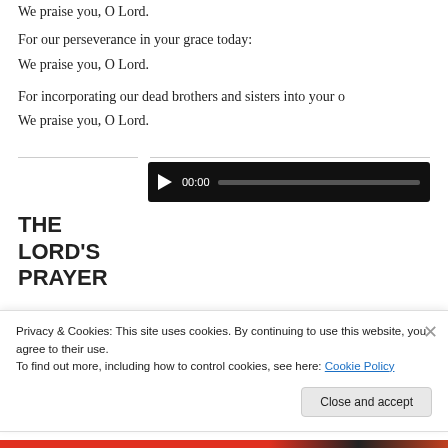We praise you, O Lord.
For our perseverance in your grace today:
We praise you, O Lord.
For incorporating our dead brothers and sisters into your o
We praise you, O Lord.
[Figure (other): Audio player widget with play button showing 00:00 and a progress bar]
THE LORD'S PRAYER
Privacy & Cookies: This site uses cookies. By continuing to use this website, you agree to their use.
To find out more, including how to control cookies, see here: Cookie Policy
Close and accept